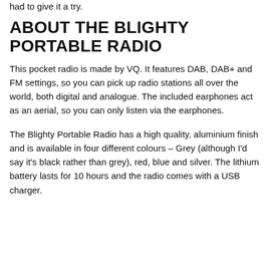had to give it a try.
ABOUT THE BLIGHTY PORTABLE RADIO
This pocket radio is made by VQ. It features DAB, DAB+ and FM settings, so you can pick up radio stations all over the world, both digital and analogue. The included earphones act as an aerial, so you can only listen via the earphones.
The Blighty Portable Radio has a high quality, aluminium finish and is available in four different colours – Grey (although I'd say it's black rather than grey), red, blue and silver. The lithium battery lasts for 10 hours and the radio comes with a USB charger.